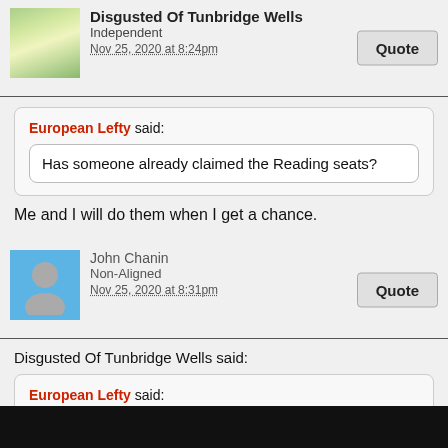Disgusted Of Tunbridge Wells
Independent
Nov 25, 2020 at 8:24pm
European Lefty said:
Has someone already claimed the Reading seats?
Me and I will do them when I get a chance.
John Chanin
Non-Aligned
Nov 25, 2020 at 8:31pm
Disgusted Of Tunbridge Wells said:
European Lefty said:
Has someone already claimed the Reading seats?
Me and I will do them when I get a chance.
Don't forget Wokingham, half of which is really Reading.